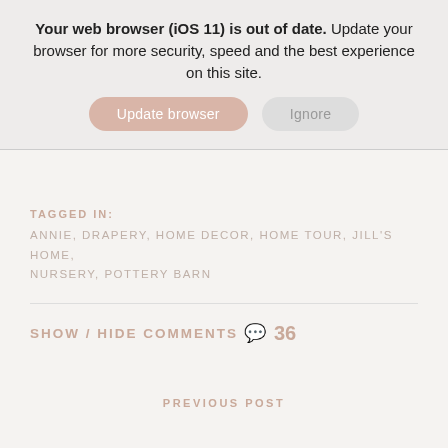Your web browser (iOS 11) is out of date. Update your browser for more security, speed and the best experience on this site.
Update browser
Ignore
TAGGED IN:
ANNIE, DRAPERY, HOME DECOR, HOME TOUR, JILL'S HOME, NURSERY, POTTERY BARN
SHOW / HIDE COMMENTS 36
PREVIOUS POST